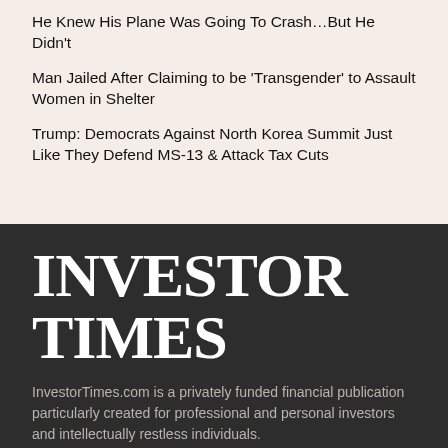He Knew His Plane Was Going To Crash…But He Didn't
Man Jailed After Claiming to be 'Transgender' to Assault Women in Shelter
Trump: Democrats Against North Korea Summit Just Like They Defend MS-13 & Attack Tax Cuts
INVESTOR TIMES
InvestorTimes.com is a privately funded financial publication particularly created for professional and personal investors and intellectually restless individuals.
Our raison d'être is to provide insightful information to any citizen willing to understand global economical markets and the most